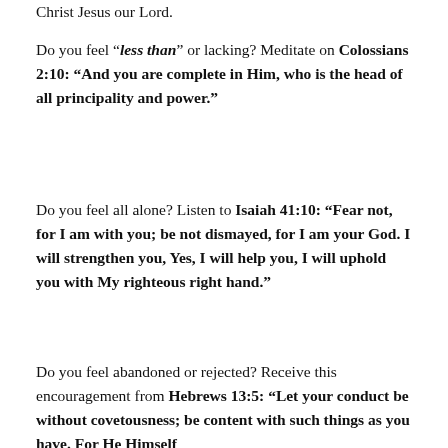Christ Jesus our Lord.
Do you feel “less than” or lacking? Meditate on Colossians 2:10: “And you are complete in Him, who is the head of all principality and power.”
Do you feel all alone? Listen to Isaiah 41:10: “Fear not, for I am with you; be not dismayed, for I am your God. I will strengthen you, Yes, I will help you, I will uphold you with My righteous right hand.”
Do you feel abandoned or rejected? Receive this encouragement from Hebrews 13:5: “Let your conduct be without covetousness; be content with such things as you have. For He Himself